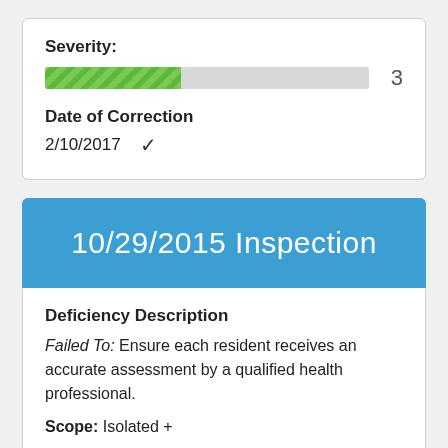Severity:
[Figure (other): Progress bar showing severity level 3, approximately 42% filled with green diagonal striped pattern]
Date of Correction
2/10/2017  ✓
10/29/2015 Inspection
Deficiency Description
Failed To: Ensure each resident receives an accurate assessment by a qualified health professional.
Scope: Isolated +